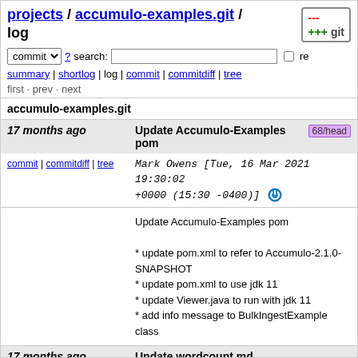projects / accumulo-examples.git / log
commit ▾ ? search: □ re
summary | shortlog | log | commit | commitdiff | tree
first · prev · next
accumulo-examples.git
17 months ago   Update Accumulo-Examples pom  68/head
commit | commitdiff | tree   Mark Owens [Tue, 16 Mar 2021 19:30:02 +0000 (15:30 -0400)]
Update Accumulo-Examples pom

* update pom.xml to refer to Accumulo-2.1.0-SNAPSHOT
* update pom.xml to use jdk 11
* update Viewer.java to run with jdk 11
* add info message to BulkIngestExample class
17 months ago   Update wordcount.md
commit | commitdiff | tree   Mark Owens [Tue, 16 Mar 2021 15:35:23 +0000 (11:35 -0400)]
Update wordcount.md